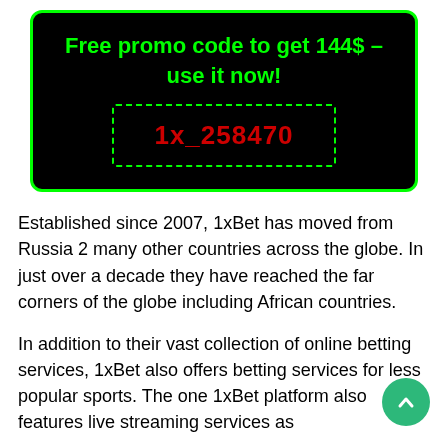[Figure (infographic): Black box with green border containing a promo heading 'Free promo code to get 144$ – use it now!' in green bold text, and a dashed green border box containing the code '1x_258470' in red bold text.]
Established since 2007, 1xBet has moved from Russia 2 many other countries across the globe. In just over a decade they have reached the far corners of the globe including African countries.
In addition to their vast collection of online betting services, 1xBet also offers betting services for less popular sports. The one 1xBet platform also features live streaming services as